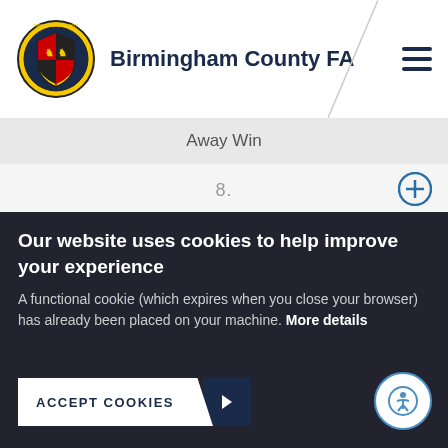[Figure (logo): Birmingham County FA shield logo with gold and black crest]
Birmingham County FA
Away Win
8.
17/10/21   00:00
Sutton United Ladies A  4 - 1  Rugby Town Women First
Our website uses cookies to help improve your experience
A functional cookie (which expires when you close your browser) has already been placed on your machine. More details
ACCEPT COOKIES